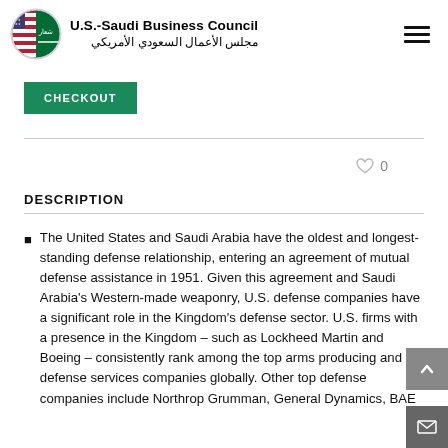U.S.-Saudi Business Council / مجلس الأعمال السعودي الأمريكي
CHECKOUT
DESCRIPTION
The United States and Saudi Arabia have the oldest and longest-standing defense relationship, entering an agreement of mutual defense assistance in 1951. Given this agreement and Saudi Arabia's Western-made weaponry, U.S. defense companies have a significant role in the Kingdom's defense sector. U.S. firms with a presence in the Kingdom – such as Lockheed Martin and Boeing – consistently rank among the top arms producing and defense services companies globally. Other top defense companies include Northrop Grumman, General Dynamics, BAE